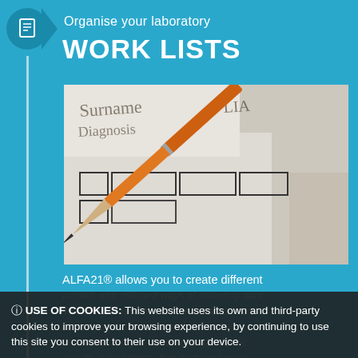Organise your laboratory
WORK LISTS
[Figure (photo): Close-up photo of a pencil tip pointing at checkboxes on a paper form/checklist, suggesting laboratory work list entry]
ALFA21® allows you to create different
models with different ways of selecting data. The entry of results using the work sheets allows you to do it dynamically and efficiently, filling in numeric or alphabetic results, calculations, free texts and even
ⓘ USE OF COOKIES: This website uses its own and third-party cookies to improve your browsing experience, by continuing to use this site you consent to their use on your device.